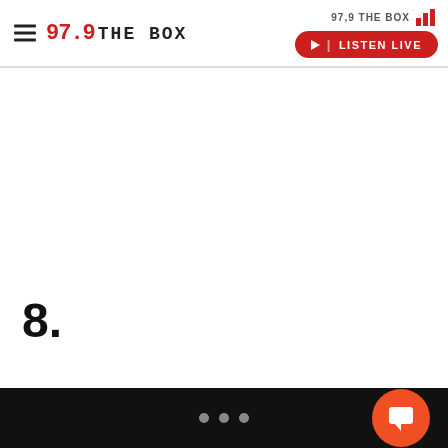97.9 THE BOX — LISTEN LIVE
8.
• • •